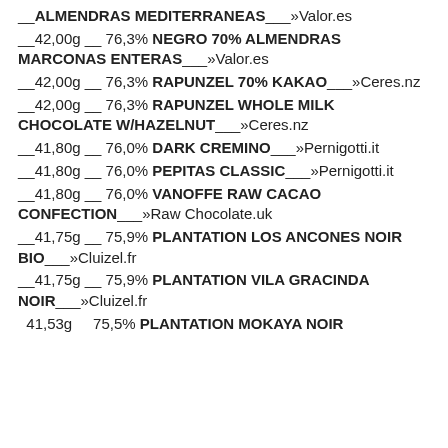__42,00g __ 76,3% ALMENDRAS MEDITERRANEAS___»Valor.es
__42,00g __ 76,3% NEGRO 70% ALMENDRAS MARCONAS ENTERAS___»Valor.es
__42,00g __ 76,3% RAPUNZEL 70% KAKAO___»Ceres.nz
__42,00g __ 76,3% RAPUNZEL WHOLE MILK CHOCOLATE W/HAZELNUT___»Ceres.nz
__41,80g __ 76,0% DARK CREMINO___»Pernigotti.it
__41,80g __ 76,0% PEPITAS CLASSIC___»Pernigotti.it
__41,80g __ 76,0% VANOFFE RAW CACAO CONFECTION___»Raw Chocolate.uk
__41,75g __ 75,9% PLANTATION LOS ANCONES NOIR BIO___»Cluizel.fr
__41,75g __ 75,9% PLANTATION VILA GRACINDA NOIR___»Cluizel.fr
41,53g    75,5% PLANTATION MOKAYA NOIR